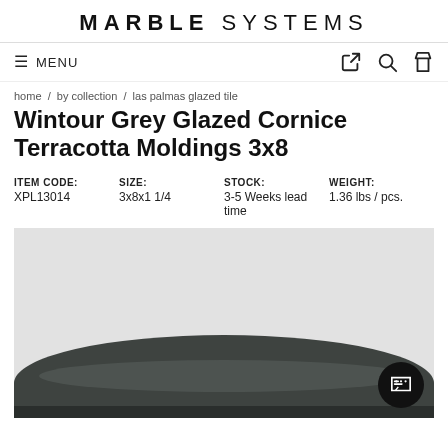MARBLE SYSTEMS
≡ MENU
home / by collection / las palmas glazed tile
Wintour Grey Glazed Cornice Terracotta Moldings 3x8
| ITEM CODE: | SIZE: | STOCK: | WEIGHT: |
| --- | --- | --- | --- |
| XPL13014 | 3x8x1 1/4 | 3-5 Weeks lead time | 1.36 lbs / pcs. |
[Figure (photo): Product photo of a dark grey/charcoal glazed cornice terracotta molding tile piece against a light grey background.]